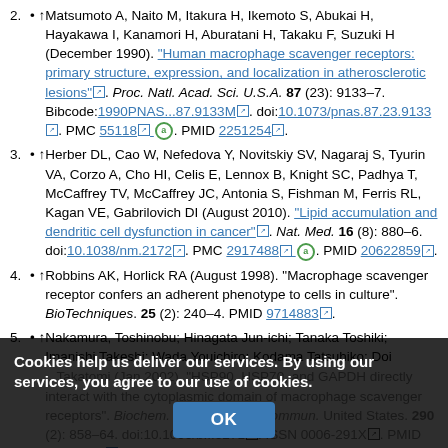2. ↑ Matsumoto A, Naito M, Itakura H, Ikemoto S, Abukai H, Hayakawa I, Kanamori H, Aburatani H, Takaku F, Suzuki H (December 1990). "Human macrophage scavenger receptors: primary structure, expression, and localization in atherosclerotic lesions". Proc. Natl. Acad. Sci. U.S.A. 87 (23): 9133–7. Bibcode:1990PNAS...87.9133M. doi:10.1073/pnas.87.23.9133. PMC 55118. PMID 2251254.
3. ↑ Herber DL, Cao W, Nefedova Y, Novitskiy SV, Nagaraj S, Tyurin VA, Corzo A, Cho HI, Celis E, Lennox B, Knight SC, Padhya T, McCaffrey TV, McCaffrey JC, Antonia S, Fishman M, Ferris RL, Kagan VE, Gabrilovich DI (August 2010). "Lipid accumulation and dendritic cell dysfunction in cancer". Nat. Med. 16 (8): 880–6. doi:10.1038/nm.2172. PMC 2917488. PMID 20622859.
4. ↑ Robbins AK, Horlick RA (August 1998). "Macrophage scavenger receptor confers an adherent phenotype to cells in culture". BioTechniques. 25 (2): 240–4. PMID 9714883.
5. ↑ Nakamura, Toshinobu; Hinagata Jun-ichi; Tanaka Toshiki; Imanishi Takeshi; Wada Youichiro; Kodama Tatsuhiko; Doi ...Takatomi (Jan 2002). "HSP90, HSP70, and GAPDH directly interact with the cytoplasmic domain of macrophage scavenger receptors". Biochem. Biophys. Res. Commun. United States. 290 (2): 858–64. doi:10.1006/b...6271. ISSN 0006-291X. PMID 11785081.
Cookies help us deliver our services. By using our services, you agree to our use of cookies.